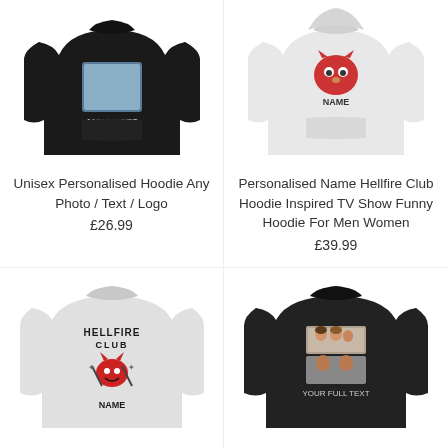[Figure (photo): Black hoodie sweatshirt with 'ANY PHOTO' text on the chest]
Unisex Personalised Hoodie Any Photo / Text / Logo
£26.99
[Figure (photo): White hoodie with a personalised name graphic featuring animal/tiger design]
Personalised Name Hellfire Club Hoodie Inspired TV Show Funny Hoodie For Men Women
£39.99
[Figure (photo): White sweatshirt with Hellfire Club logo and NAME text]
[Figure (photo): Black sweatshirt with photo collage print and 'YOUR FULL TEXT' text]